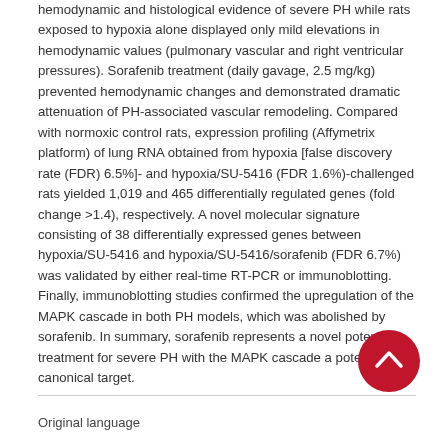hemodynamic and histological evidence of severe PH while rats exposed to hypoxia alone displayed only mild elevations in hemodynamic values (pulmonary vascular and right ventricular pressures). Sorafenib treatment (daily gavage, 2.5 mg/kg) prevented hemodynamic changes and demonstrated dramatic attenuation of PH-associated vascular remodeling. Compared with normoxic control rats, expression profiling (Affymetrix platform) of lung RNA obtained from hypoxia [false discovery rate (FDR) 6.5%]- and hypoxia/SU-5416 (FDR 1.6%)-challenged rats yielded 1,019 and 465 differentially regulated genes (fold change >1.4), respectively. A novel molecular signature consisting of 38 differentially expressed genes between hypoxia/SU-5416 and hypoxia/SU-5416/sorafenib (FDR 6.7%) was validated by either real-time RT-PCR or immunoblotting. Finally, immunoblotting studies confirmed the upregulation of the MAPK cascade in both PH models, which was abolished by sorafenib. In summary, sorafenib represents a novel potential treatment for severe PH with the MAPK cascade a potential canonical target.
Original language